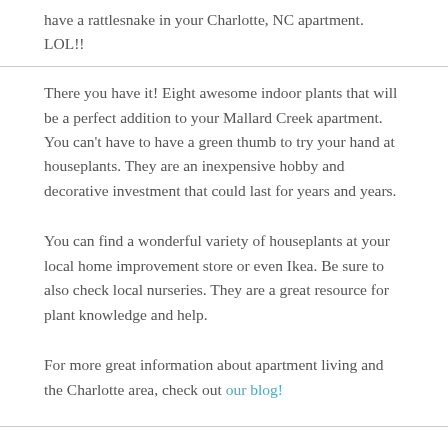have a rattlesnake in your Charlotte, NC apartment. LOL!!
There you have it! Eight awesome indoor plants that will be a perfect addition to your Mallard Creek apartment. You can't have to have a green thumb to try your hand at houseplants. They are an inexpensive hobby and decorative investment that could last for years and years.
You can find a wonderful variety of houseplants at your local home improvement store or even Ikea. Be sure to also check local nurseries. They are a great resource for plant knowledge and help.
For more great information about apartment living and the Charlotte area, check out our blog!